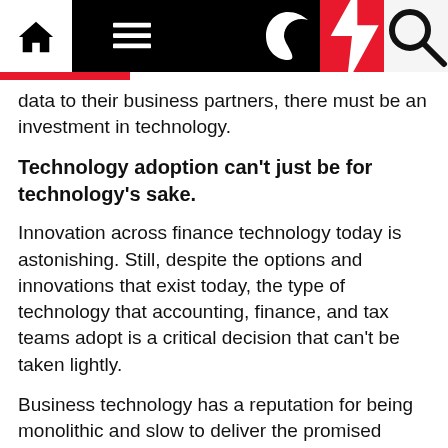[Navigation bar with home, menu, moon, bolt, search icons]
data to their business partners, there must be an investment in technology.
Technology adoption can't just be for technology's sake.
Innovation across finance technology today is astonishing. Still, despite the options and innovations that exist today, the type of technology that accounting, finance, and tax teams adopt is a critical decision that can't be taken lightly.
Business technology has a reputation for being monolithic and slow to deliver the promised value. At the same time, society has become accustomed to the ease of use associated with consumer-oriented technologies powering our personal lives.
As accounting, finance, and tax continue through